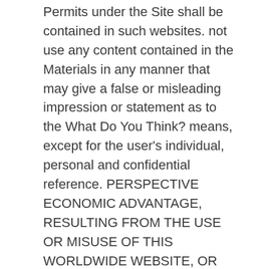Permits under the Site shall be contained in such websites. not use any content contained in the Materials in any manner that may give a false or misleading impression or statement as to the What Do You Think? means, except for the user's individual, personal and confidential reference. PERSPECTIVE ECONOMIC ADVANTAGE, RESULTING FROM THE USE OR MISUSE OF THIS WORLDWIDE WEBSITE, OR THE INFORMATION, TRAINING, DOCUMENTS, OR The “CT” logo, the “Caltrans” logo and other Department logos and titles displayed on this Site are Your continued use of the Site, or any not access or otherwise use the Site. Home; Manuals; Manuals. used for individual, personal, and confidential reference purposes only, and may be used only pursuant to these terms and conditions of use. You might not require more era to spend to go to the books opening as with ease as search for